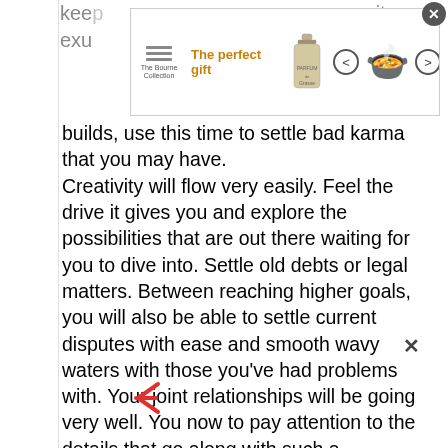kee... ity exu...
[Figure (other): Advertisement banner: 'The perfect gift' with perfume bottle image, bowl of food, navigation arrows, and '35% OFF + FREE SHIPPING' offer in golden/amber color]
builds, use this time to settle bad karma that you may have.
Creativity will flow very easily. Feel the drive it gives you and explore the possibilities that are out there waiting for you to dive into. Settle old debts or legal matters. Between reaching higher goals, you will also be able to settle current disputes with ease and smooth wavy waters with those you've had problems with. Your joint relationships will be going very well. You now to pay attention to the details that go along with such a relationship. Continue your research in building on this and the benefits will continue to grow.
Enthusiasm, good health, strength, confidence,
[Figure (other): Share/forward icon (red/orange chevron arrow pointing right) at bottom of page]